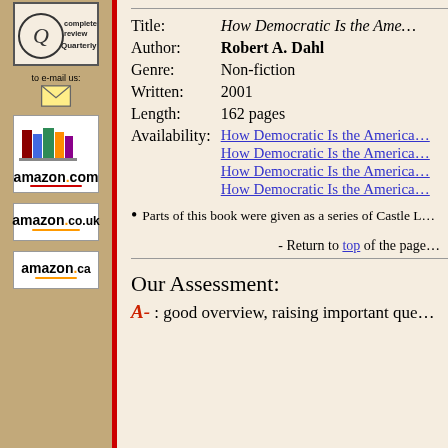[Figure (logo): Complete Review Quarterly logo with Q circle]
[Figure (illustration): Email envelope icon with 'to e-mail us:' text]
[Figure (illustration): Amazon.com books and logo image]
[Figure (logo): amazon.co.uk logo]
[Figure (logo): amazon.ca logo]
| Title: | How Democratic Is the Ame... |
| Author: | Robert A. Dahl |
| Genre: | Non-fiction |
| Written: | 2001 |
| Length: | 162 pages |
| Availability: | How Democratic Is the America...
How Democratic Is the America...
How Democratic Is the America...
How Democratic Is the America... |
Parts of this book were given as a series of Castle L...
- Return to top of the page
Our Assessment:
A- : good overview, raising important que...